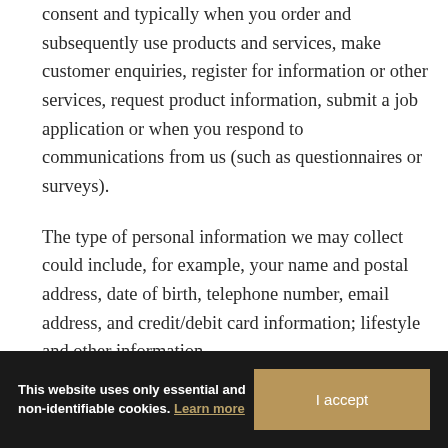consent and typically when you order and subsequently use products and services, make customer enquiries, register for information or other services, request product information, submit a job application or when you respond to communications from us (such as questionnaires or surveys).
The type of personal information we may collect could include, for example, your name and postal address, date of birth, telephone number, email address, and credit/debit card information; lifestyle and other information
f
information will be used in support of the intended purposes stated at the time at which
This website uses only essential and non-identifiable cookies. Learn more
I accept